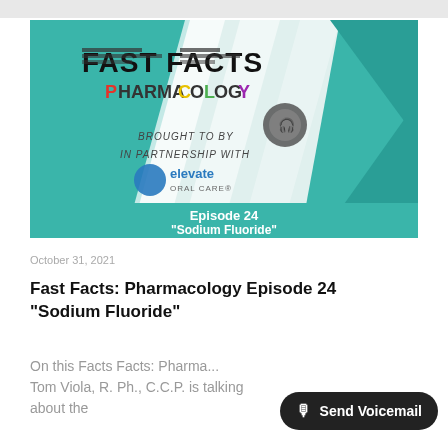[Figure (screenshot): Thumbnail image for Fast Facts Pharmacology podcast Episode 24 about Sodium Fluoride. Teal and white geometric background with 'Fast Facts Pharmacology' logo, headphones/microphone icon, 'Brought to by', 'In Partnership with', Elevate Oral Care logo, and episode title 'Episode 24 Sodium Fluoride'.]
October 31, 2021
Fast Facts: Pharmacology Episode 24 “Sodium Fluoride”
On this Facts Facts: Pharma... Tom Viola, R. Ph., C.C.P. is talking about the